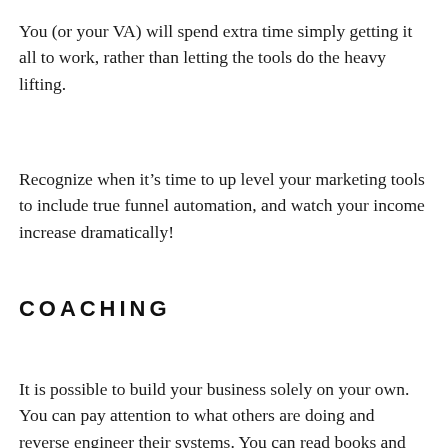You (or your VA) will spend extra time simply getting it all to work, rather than letting the tools do the heavy lifting.
Recognize when it's time to up level your marketing tools to include true funnel automation, and watch your income increase dramatically!
COACHING
It is possible to build your business solely on your own. You can pay attention to what others are doing and reverse engineer their systems. You can read books and blogs and maybe invest in a few carefully chosen training